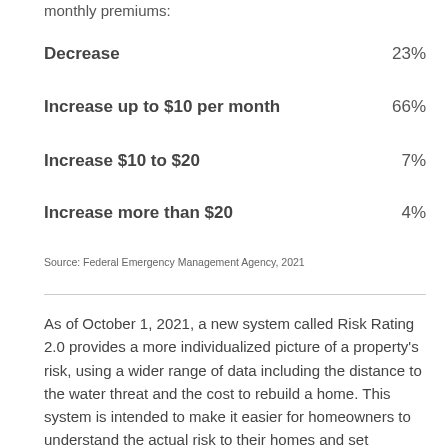monthly premiums:
Decrease    23%
Increase up to $10 per month    66%
Increase $10 to $20    7%
Increase more than $20    4%
Source: Federal Emergency Management Agency, 2021
As of October 1, 2021, a new system called Risk Rating 2.0 provides a more individualized picture of a property's risk, using a wider range of data including the distance to the water threat and the cost to rebuild a home. This system is intended to make it easier for homeowners to understand the actual risk to their homes and set premiums more in line with that risk. It's expected to raise premiums